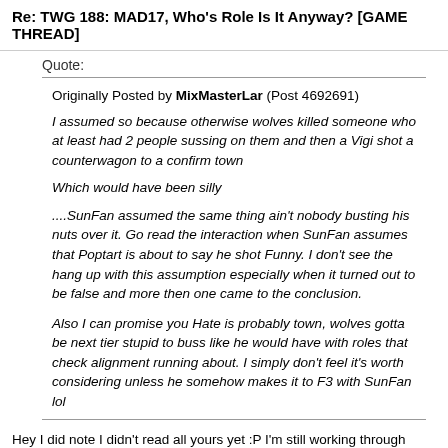Re: TWG 188: MAD17, Who's Role Is It Anyway? [GAME THREAD]
Quote:
Originally Posted by MixMasterLar (Post 4692691)
I assumed so because otherwise wolves killed someone who at least had 2 people sussing on them and then a Vigi shot a counterwagon to a confirm town

Which would have been silly

....SunFan assumed the same thing ain't nobody busting his nuts over it. Go read the interaction when SunFan assumes that Poptart is about to say he shot Funny. I don't see the hang up with this assumption especially when it turned out to be false and more then one came to the conclusion.


Also I can promise you Hate is probably town, wolves gotta be next tier stupid to buss like he would have with roles that check alignment running about. I simply don't feel it's worth considering unless he somehow makes it to F3 with SunFan lol
Hey I did note I didn't read all yours yet :P I'm still working through everyone and just noting things as I go. Easiest way for me to process plus hey now I've got your thinking right here too which helps me